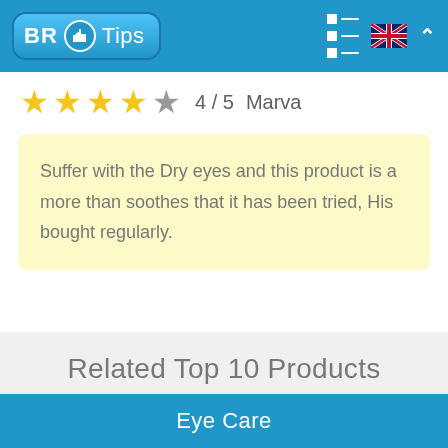[Figure (logo): BR Tips logo with thumbs up icon on blue background header bar]
4 / 5  Marva
Suffer with the Dry eyes and this product is a more than soothes that it has been tried, His bought regularly.
Related Top 10 Products
Eye Care